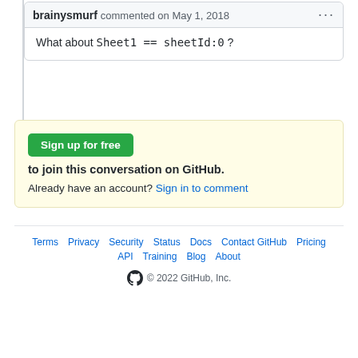brainysmurf commented on May 1, 2018 ...
What about Sheet1 == sheetId:0 ?
Sign up for free to join this conversation on GitHub. Already have an account? Sign in to comment
Terms  Privacy  Security  Status  Docs  Contact GitHub  Pricing  API  Training  Blog  About  © 2022 GitHub, Inc.